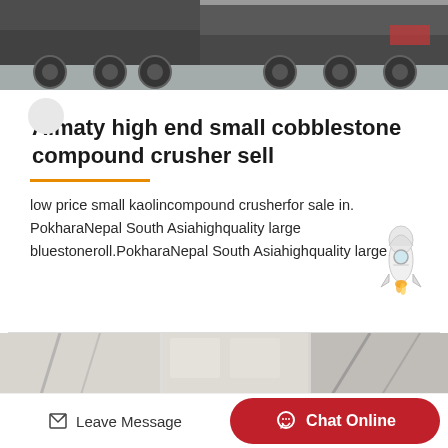[Figure (photo): Black and white photo of large trucks/vehicles on a road, cropped to show the undercarriage and wheels]
Almaty high end small cobblestone compound crusher sell
low price small kaolincompound crusherfor sale in. PokharaNepal South Asiahighquality large bluestoneroll.PokharaNepal South Asiahighquality large…
[Figure (illustration): Cartoon rocket ship illustration]
[Figure (photo): Interior industrial facility photo, light colored]
Leave Message   Chat Online